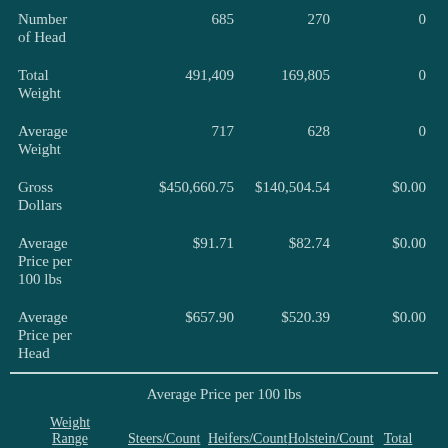|  | Steers/Count | Heifers/Count | Holstein/Count | Total |
| --- | --- | --- | --- | --- |
| Number of Head | 685 | 270 | 0 | 955 |
| Total Weight | 491,409 | 169,805 | 0 | 661,215 |
| Average Weight | 717 | 628 | 0 | 692 |
| Gross Dollars | $450,660.75 | $140,504.54 | $0.00 | $591,165.29 |
| Average Price per 100 lbs | $91.71 | $82.74 | $0.00 | $89.41 |
| Average Price per Head | $657.90 | $520.39 | $0.00 | $619.02 |
Average Price per 100 lbs
| Weight Range | Steers/Count | Heifers/Count | Holstein/Count | Total |
| --- | --- | --- | --- | --- |